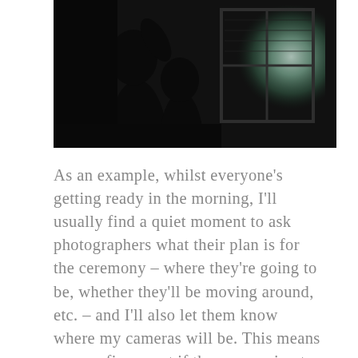[Figure (photo): A dark silhouette photo of two people near a window with natural light coming through, creating a dramatic backlit effect against a dark interior.]
As an example, whilst everyone's getting ready in the morning, I'll usually find a quiet moment to ask photographers what their plan is for the ceremony – where they're going to be, whether they'll be moving around, etc. – and I'll also let them know where my cameras will be. This means we can figure out if there are going to be any issues or clashes, and have plenty of time to come up with a compromise if there is. Either way, there's usually plenty of room to move and shoot around each other during your ceremony,